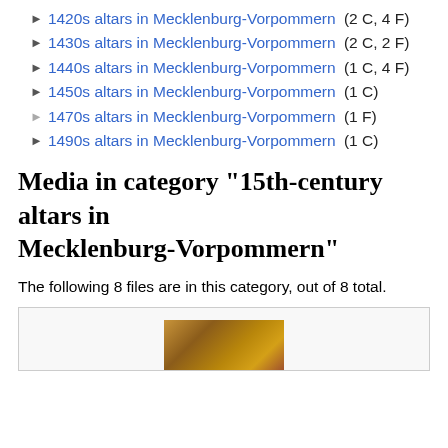► 1420s altars in Mecklenburg-Vorpommern (2 C, 4 F)
► 1430s altars in Mecklenburg-Vorpommern (2 C, 2 F)
► 1440s altars in Mecklenburg-Vorpommern (1 C, 4 F)
► 1450s altars in Mecklenburg-Vorpommern (1 C)
► 1470s altars in Mecklenburg-Vorpommern (1 F)
► 1490s altars in Mecklenburg-Vorpommern (1 C)
Media in category "15th-century altars in Mecklenburg-Vorpommern"
The following 8 files are in this category, out of 8 total.
[Figure (photo): Partial view of a 15th-century altar artwork from Mecklenburg-Vorpommern]